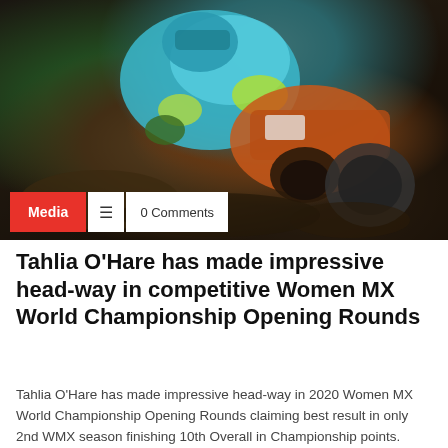[Figure (photo): Motocross rider in teal/cyan gear on an orange dirt bike, leaning forward aggressively on a muddy track, action shot from above.]
Tahlia O'Hare has made impressive head-way in competitive Women MX World Championship Opening Rounds
Tahlia O'Hare has made impressive head-way in 2020 Women MX World Championship Opening Rounds claiming best result in only 2nd WMX season finishing 10th Overall in Championship points. Making deliberate